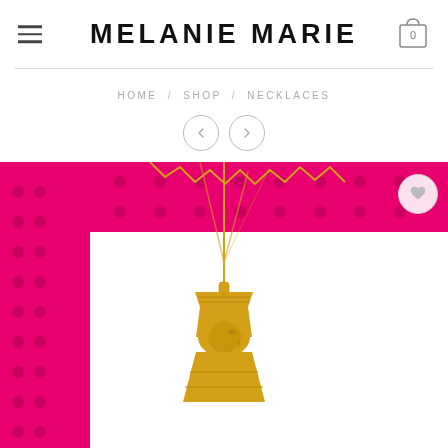MELANIE MARiE
HOME / SHOP / NECKLACES
[Figure (photo): Product photo of a gold Nefertiti pendant necklace on a gold chain, displayed against a bright pink decorative frame on a white background.]